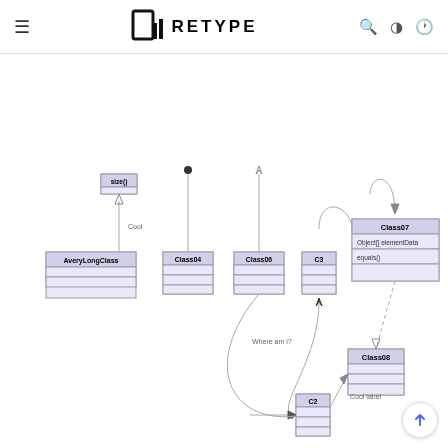RETYPE
[Figure (engineering-diagram): UML class diagram showing classes: AveryLongClass (with size() method label 'Cool'), Class04, Class06, C3, Class07 (with Object[] elementData and equals() members), Class08, C2. Connections include inheritance, composition, aggregation, dependency, and association arrows with labels 'Where am i?' and 'Cool label'.]